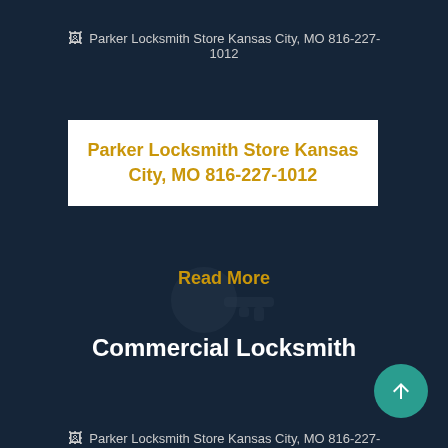[Figure (photo): Broken image placeholder for Parker Locksmith Store Kansas City, MO 816-227-1012]
Parker Locksmith Store Kansas City, MO 816-227-1012
Read More
[Figure (photo): Background photo of locksmith/commercial lock scene]
Commercial Locksmith
[Figure (photo): Broken image placeholder for Parker Locksmith Store Kansas City, MO 816-227-]